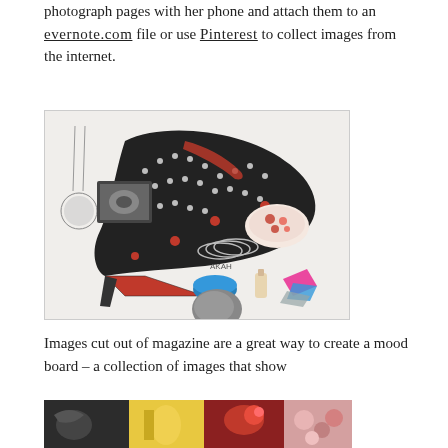photograph pages with her phone and attach them to an evernote.com file or use Pinterest to collect images from the internet.
[Figure (photo): A mood board style illustration showing a black, white and red patterned high-heel shoe surrounded by various fashion accessories including jewelry, cosmetics, and fabric swatches.]
Images cut out of magazine are a great way to create a mood board – a collection of images that show
[Figure (photo): A partial view of a collage/mood board showing various colorful magazine cutout images.]